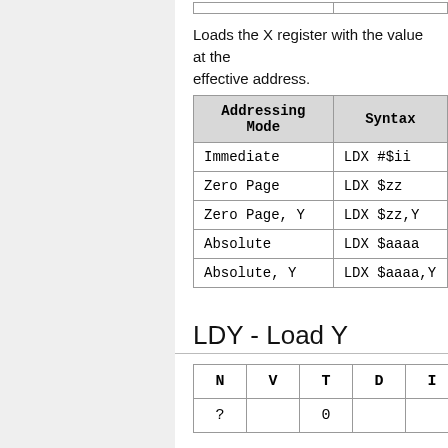| Addressing Mode | Syntax |
| --- | --- |
| Immediate | LDX #$ii |
| Zero Page | LDX $zz |
| Zero Page, Y | LDX $zz,Y |
| Absolute | LDX $aaaa |
| Absolute, Y | LDX $aaaa,Y |
Loads the X register with the value at the effective address.
LDY - Load Y
| N | V | T | D | I | Z | C |
| --- | --- | --- | --- | --- | --- | --- |
| ? |  | 0 |  |  | ? |  |
Loads the Y register with the value at the effective address.
| Addressing Mode | Syntax |
| --- | --- |